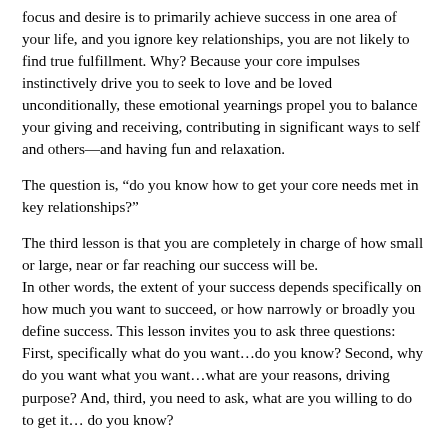focus and desire is to primarily achieve success in one area of your life, and you ignore key relationships, you are not likely to find true fulfillment. Why? Because your core impulses instinctively drive you to seek to love and be loved unconditionally, these emotional yearnings propel you to balance your giving and receiving, contributing in significant ways to self and others—and having fun and relaxation.
The question is, “do you know how to get your core needs met in key relationships?”
The third lesson is that you are completely in charge of how small or large, near or far reaching our success will be. In other words, the extent of your success depends specifically on how much you want to succeed, or how narrowly or broadly you define success. This lesson invites you to ask three questions: First, specifically what do you want…do you know? Second, why do you want what you want…what are your reasons, driving purpose? And, third, you need to ask, what are you willing to do to get it…do you know?
Ultimately, the measure of your success depends on how clearly you can picture what you want, appreciate why you want it, and recognize what you’re willing to do to get it. That’s a formula for success.